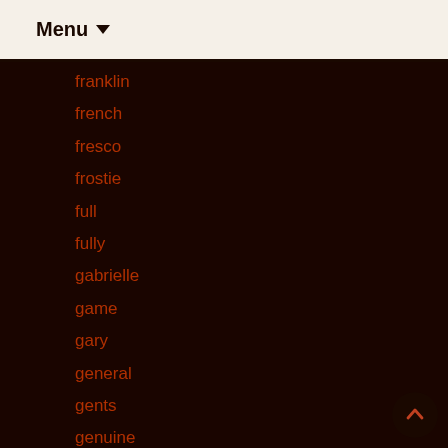Menu ▼
franklin
french
fresco
frostie
full
fully
gabrielle
game
gary
general
gents
genuine
george